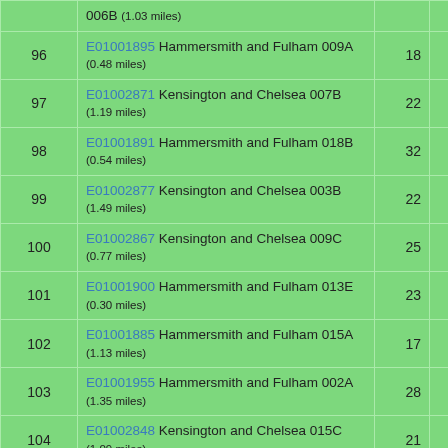| Rank | Area | Count | Value |
| --- | --- | --- | --- |
|  | 006B (1.03 miles) |  |  |
| 96 | E01001895 Hammersmith and Fulham 009A (0.48 miles) | 18 | 12.68 |
| 97 | E01002871 Kensington and Chelsea 007B (1.19 miles) | 22 | 13.17 |
| 98 | E01001891 Hammersmith and Fulham 018B (0.54 miles) | 32 | 13.35 |
| 99 | E01002877 Kensington and Chelsea 003B (1.49 miles) | 22 | 13.56 |
| 100 | E01002867 Kensington and Chelsea 009C (0.77 miles) | 25 | 13.70 |
| 101 | E01001900 Hammersmith and Fulham 013E (0.30 miles) | 23 | 13.97 |
| 102 | E01001885 Hammersmith and Fulham 015A (1.13 miles) | 17 | 14.18 |
| 103 | E01001955 Hammersmith and Fulham 002A (1.35 miles) | 28 | 14.21 |
| 104 | E01002848 Kensington and Chelsea 015C (1.09 miles) | 21 | 14.23 |